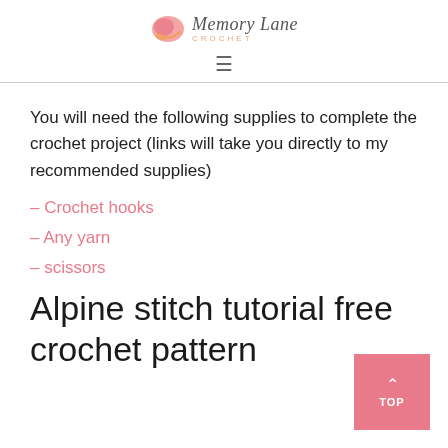Memory Lane Crochet
You will need the following supplies to complete the crochet project (links will take you directly to my recommended supplies)
– Crochet hooks
– Any yarn
– scissors
Alpine stitch tutorial free crochet pattern